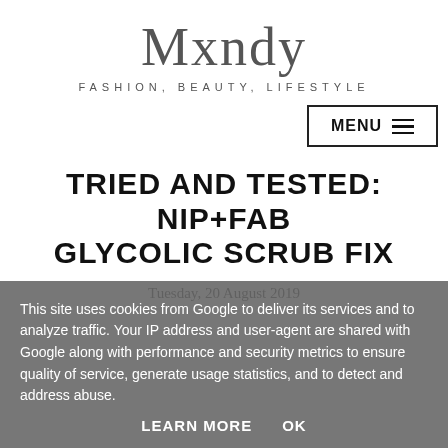Mxndy
FASHION, BEAUTY, LIFESTYLE
TRIED AND TESTED: NIP+FAB GLYCOLIC SCRUB FIX
Tuesday, 20 August 2019
This site uses cookies from Google to deliver its services and to analyze traffic. Your IP address and user-agent are shared with Google along with performance and security metrics to ensure quality of service, generate usage statistics, and to detect and address abuse.
LEARN MORE  OK